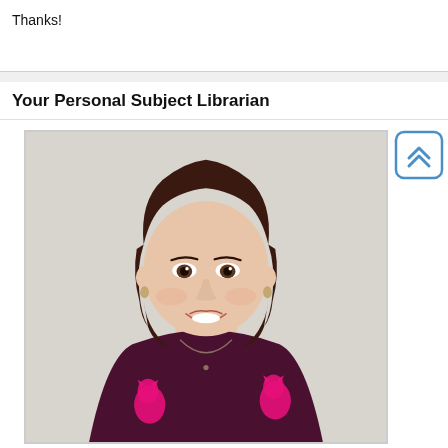Thanks!
Your Personal Subject Librarian
[Figure (photo): Headshot photo of a woman with dark shoulder-length hair, smiling, wearing a dark maroon top with pink cat patterns and a necklace, against a light gray/beige background.]